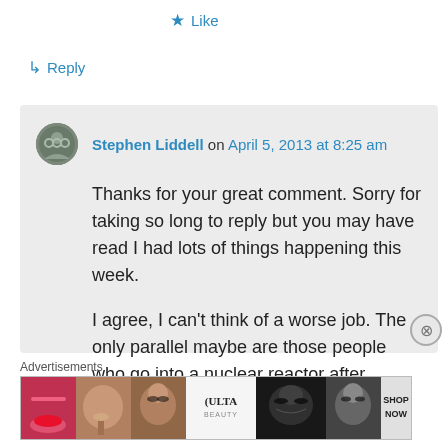★ Like
↳ Reply
Stephen Liddell on April 5, 2013 at 8:25 am
Thanks for your great comment. Sorry for taking so long to reply but you may have read I had lots of things happening this week.

I agree, I can't think of a worse job. The only parallel maybe are those people who go into a nuclear reactor after radiation
Advertisements
[Figure (screenshot): Ulta Beauty advertisement banner showing makeup/beauty product images with SHOP NOW call to action]